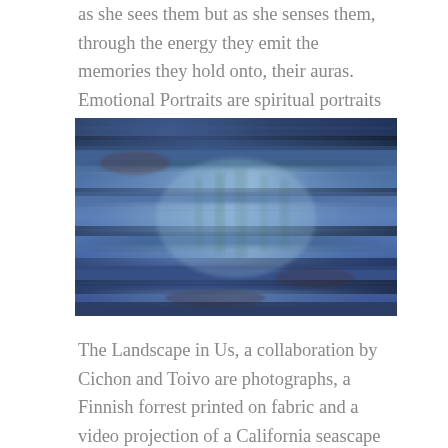as she sees them but as she senses them, through the energy they emit the memories they hold onto, their auras. Emotional Portraits are spiritual portraits on silk.
[Figure (photo): Abstract artwork showing a blue-toned landscape on silk or fabric, with layered horizontal bands of blue, teal, and white suggesting water, forest, or atmospheric layers. The image has a soft, impressionistic quality with textile texture visible.]
The Landscape in Us, a collaboration by Cichon and Toivo are photographs, a Finnish forrest printed on fabric and a video projection of a California seascape video on an overlay of